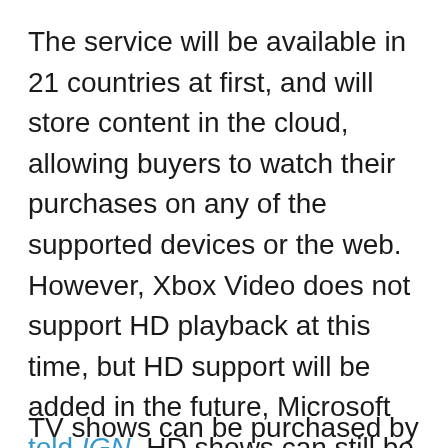The service will be available in 21 countries at first, and will store content in the cloud, allowing buyers to watch their purchases on any of the supported devices or the web. However, Xbox Video does not support HD playback at this time, but HD support will be added in the future, Microsoft told IGN. HD shows can still be purchased from the store, but they'll only be available to watch on the Xbox One initially.
TV shows can be purchased by episode or